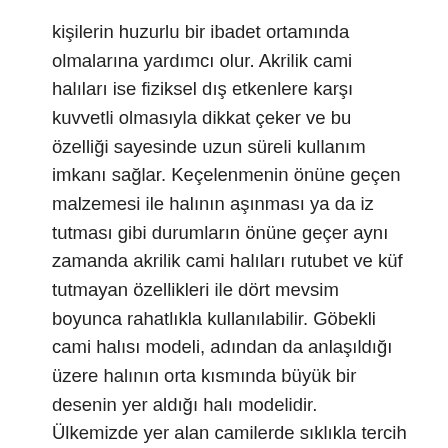kişilerin huzurlu bir ibadet ortamında olmalarına yardımcı olur. Akrilik cami halıları ise fiziksel dış etkenlere karşı kuvvetli olmasıyla dikkat çeker ve bu özelliği sayesinde uzun süreli kullanım imkanı sağlar. Keçelenmenin önüne geçen malzemesi ile halının aşınması ya da iz tutması gibi durumların önüne geçer aynı zamanda akrilik cami halıları rutubet ve küf tutmayan özellikleri ile dört mevsim boyunca rahatlıkla kullanılabilir. Göbekli cami halısı modeli, adından da anlaşıldığı üzere halının orta kısmında büyük bir desenin yer aldığı halı modelidir. Ülkemizde yer alan camilerde sıklıkla tercih edilen bu halı modeli, ateşe karşı dayanıklıdır ve ısı yalıtımı, ses akustiği sağlar.